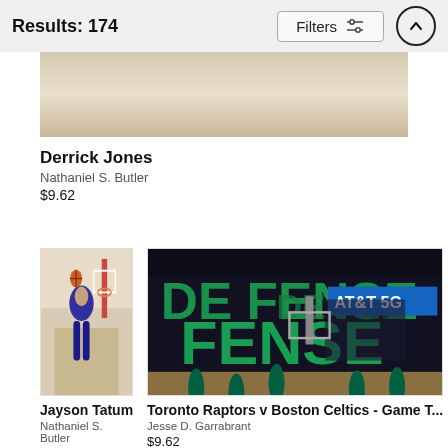Results: 174
[Figure (photo): Cropped basketball court photo (top portion), showing hardwood floor and partial arena elements — Derrick Jones photo]
Derrick Jones
Nathaniel S. Butler
$9.62
[Figure (photo): Jayson Tatum dunking basketball, wearing Knicks/All-Star uniform, mid-air near basket]
Jayson Tatum
Nathaniel S. Butler
$9.62
[Figure (photo): Toronto Raptors v Boston Celtics arena game photo showing 'DEFENSE' text on court overlay, AT&T 5G signage, players in green Celtics uniforms]
Toronto Raptors v Boston Celtics - Game T...
Jesse D. Garrabrant
$9.62